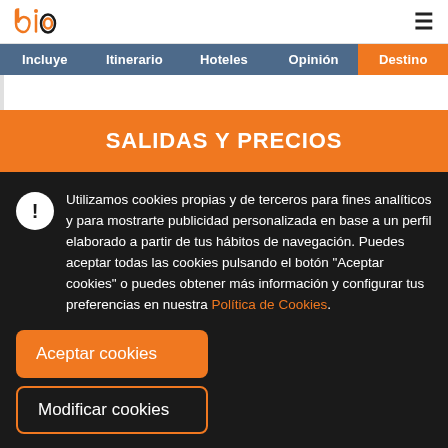bio [logo] | hamburger menu
Incluye | Itinerario | Hoteles | Opinión | Destino
SALIDAS Y PRECIOS
Utilizamos cookies propias y de terceros para fines analíticos y para mostrarte publicidad personalizada en base a un perfil elaborado a partir de tus hábitos de navegación. Puedes aceptar todas las cookies pulsando el botón "Aceptar cookies" o puedes obtener más información y configurar tus preferencias en nuestra Política de Cookies.
Aceptar cookies
Modificar cookies